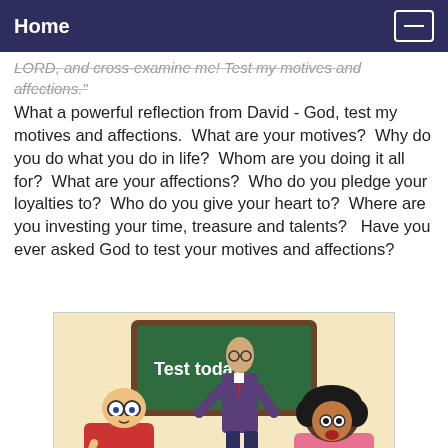Home
LORD, and cross-examine me! Test my motives and affections." What a powerful reflection from David - God, test my motives and affections.  What are your motives?  Why do you do what you do in life?  Whom are you doing it all for?  What are your affections?  Who do you pledge your loyalties to?  Who do you give your heart to?  Where are you investing your time, treasure and talents?   Have you ever asked God to test your motives and affections?
[Figure (illustration): A cartoon showing a teacher standing behind two students taking a test in a classroom. A chalkboard reads 'Test today'. One student is using binocular-like glasses presumably to cheat, and a female student looks surprised. All are drawn in a humorous cartoon style.]